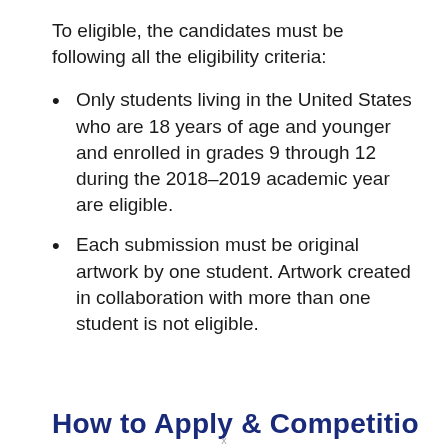To eligible, the candidates must be following all the eligibility criteria:
Only students living in the United States who are 18 years of age and younger and enrolled in grades 9 through 12 during the 2018–2019 academic year are eligible.
Each submission must be original artwork by one student. Artwork created in collaboration with more than one student is not eligible.
How to Apply & Competitions